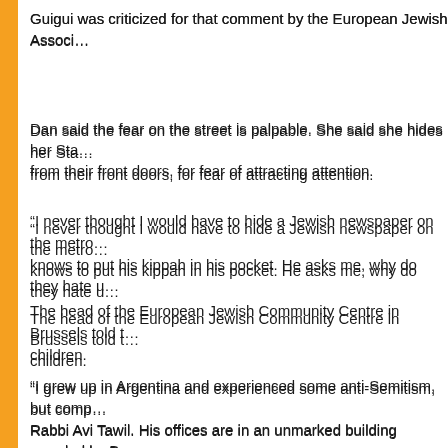Guigui was criticized for that comment by the European Jewish Associ…
Dan said the fear on the street is palpable. She said she hides her Sta… from their front doors, for fear of attracting attention.
“I never thought I would have to hide a Jewish newspaper on the metro… knows to put his kippah in his pocket. He asks me, why do they hate u…
The head of the European Jewish Community Centre in Brussels told t… children.
“I grew up in Argentina and experienced some anti-Semitism, but comp… Rabbi Avi Tawil. His offices are in an unmarked building guarded by Be…
“We see people are targeted for being Jewish in the streets all the time…
Both Tawil and Dan told the Telegraph that the majority of incidents are…